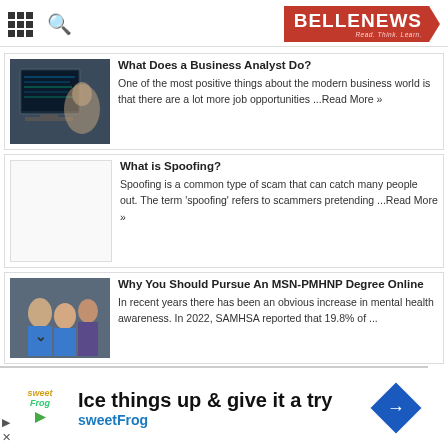BELLENEWS — Read. Think. Learn.
What Does a Business Analyst Do?
One of the most positive things about the modern business world is that there are a lot more job opportunities ...Read More »
[Figure (photo): Person working at a computer monitor with code/data on screen]
What is Spoofing?
Spoofing is a common type of scam that can catch many people out. The term 'spoofing' refers to scammers pretending ...Read More »
Why You Should Pursue An MSN-PMHNP Degree Online
In recent years there has been an obvious increase in mental health awareness. In 2022, SAMHSA reported that 19.8% of ...
[Figure (photo): Medical professionals, group of doctors/nurses]
[Figure (screenshot): Advertisement: Ice things up & give it a try — sweetFrog]